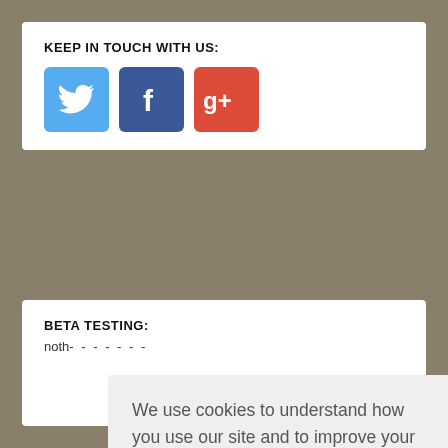KEEP IN TOUCH WITH US:
[Figure (illustration): Three social media icons: Twitter (blue bird), Facebook (blue f), Google+ (red g+)]
BETA TESTING:
noth- - - - - - - -
We use cookies to understand how you use our site and to improve your experience. This includes personalizing content for you and for the display and tracking of advertising. By continuing to use our site, you accept and agree to our use of cookies.  Privacy Policy
Got it!